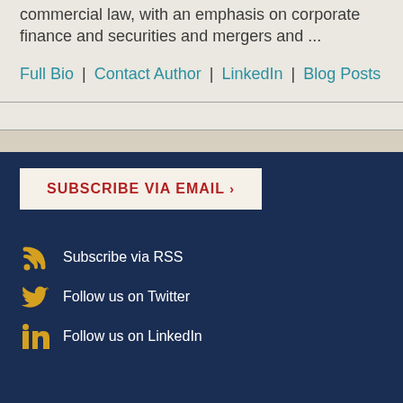commercial law, with an emphasis on corporate finance and securities and mergers and ...
Full Bio | Contact Author | LinkedIn | Blog Posts
Subscribe via RSS
Follow us on Twitter
Follow us on LinkedIn